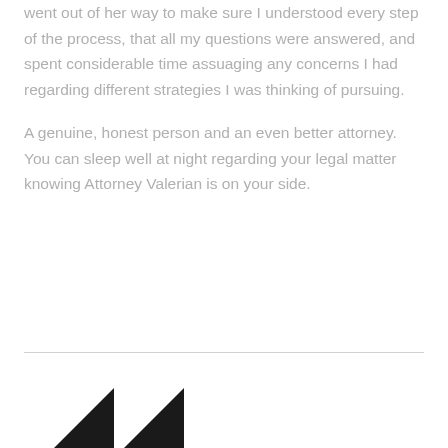went out of her way to make sure I understood every step of the process, that all my questions were answered, and spent considerable time assuaging any concerns I had regarding different strategies I was thinking of pursuing.
A genuine, honest person and an even better attorney. You can sleep well at night regarding your legal matter knowing Attorney Valerian is on your side.
[Figure (logo): Partial logo with two black triangular/arrow shapes visible at bottom of page]